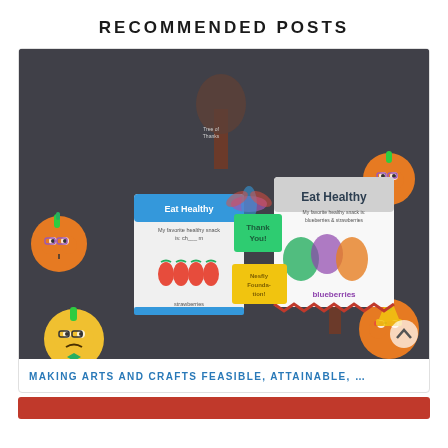RECOMMENDED POSTS
[Figure (photo): Classroom bulletin board with colorful pumpkin decorations and student 'Eat Healthy' craft projects on a dark grey carpet background. Students created booklet crafts showing their favorite healthy snacks.]
MAKING ARTS AND CRAFTS FEASIBLE, ATTAINABLE, …